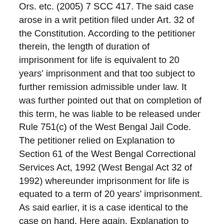Ors. etc. (2005) 7 SCC 417. The said case arose in a writ petition filed under Art. 32 of the Constitution. According to the petitioner therein, the length of duration of imprisonment for life is equivalent to 20 years' imprisonment and that too subject to further remission admissible under law. It was further pointed out that on completion of this term, he was liable to be released under Rule 751(c) of the West Bengal Jail Code. The petitioner relied on Explanation to Section 61 of the West Bengal Correctional Services Act, 1992 (West Bengal Act 32 of 1992) whereunder imprisonment for life is equated to a term of 20 years' imprisonment. As said earlier, it is a case identical to the case on hand. Here again, Explanation to Section 61 of